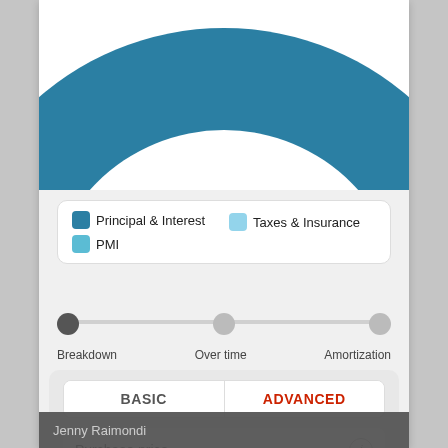[Figure (pie-chart): Partial pie/donut chart showing large teal segment (Principal & Interest) at top of page, cropped]
[Figure (infographic): Legend box with three colored swatches: dark teal = Principal & Interest, light blue = Taxes & Insurance, medium blue = PMI]
[Figure (infographic): Horizontal navigation selector with three steps: Breakdown (active/dark dot), Over time (grey dot), Amortization (grey dot)]
| BASIC | ADVANCED |
| --- | --- |
Purchase price
$ 789,000
Jenny Raimondi